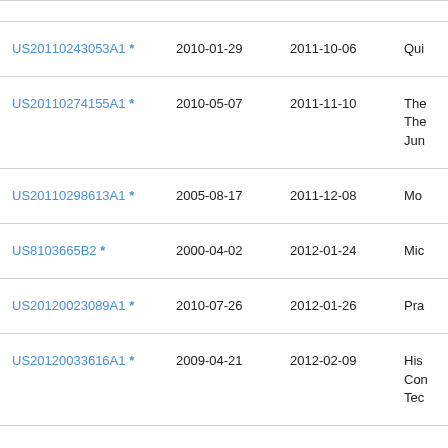| Patent ID | Filing Date | Publication Date | Title (partial) |
| --- | --- | --- | --- |
| US20110243053A1 * | 2010-01-29 | 2011-10-06 | Qu... |
| US20110274155A1 * | 2010-05-07 | 2011-11-10 | The
The
Jun |
| US20110298613A1 * | 2005-08-17 | 2011-12-08 | Mo |
| US8103665B2 * | 2000-04-02 | 2012-01-24 | Mic |
| US20120023089A1 * | 2010-07-26 | 2012-01-26 | Pra |
| US20120033616A1 * | 2009-04-21 | 2012-02-09 | His
Com
Tec |
| US20120041982A1 * | 2008-12-16 | 2012-02-16 | Ko... |